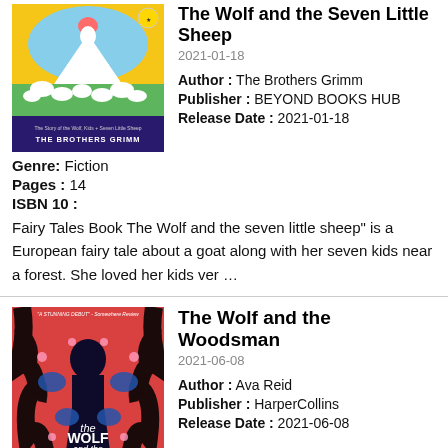[Figure (illustration): Book cover of The Brothers Grimm fairy tale with colorful cartoon sheep and a wolf illustration, yellow background]
The Wolf and the Seven Little Sheep
2021-01-18
Author : The Brothers Grimm
Publisher : BEYOND BOOKS HUB
Release Date : 2021-01-18
Genre: Fiction
Pages : 14
ISBN 10 :
Fairy Tales Book The Wolf and the seven little sheep" is a European fairy tale about a goat along with her seven kids near a forest. She loved her kids ver …
[Figure (illustration): Book cover of The Wolf and the Woodsman with dark silhouette of a figure against red and black tree branches, with blue decorative elements]
The Wolf and the Woodsman
2021-06-08
Author : Ava Reid
Publisher : HarperCollins
Release Date : 2021-06-08